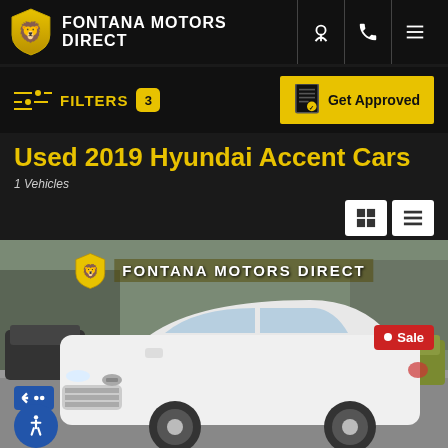FONTANA MOTORS DIRECT
FILTERS 3
Get Approved
Used 2019 Hyundai Accent Cars
1 Vehicles
[Figure (photo): White 2019 Hyundai Accent sedan parked in a dealership lot with Fontana Motors Direct branding overlay and a red Sale badge in the top right corner.]